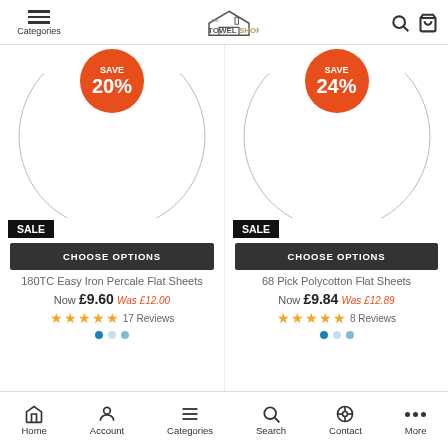The Towel Shop — Categories, Search, Cart navigation
[Figure (screenshot): Product listing page from The Towel Shop website showing two products: 180TC Easy Iron Percale Flat Sheets (Save 20%, Now £9.60, Was £12.00, 17 Reviews) and 68 Pick Polycotton Flat Sheets (Save 24%, Now £9.84, Was £12.89, 8 Reviews)]
Home | Account | Categories | Search | Contact | More